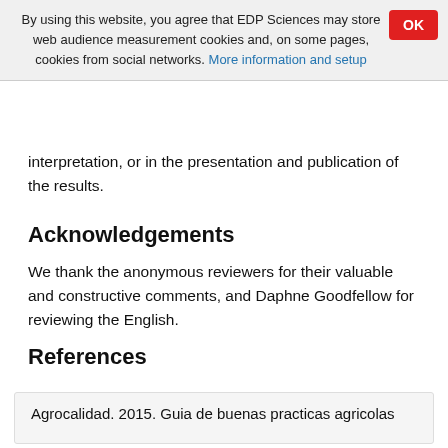By using this website, you agree that EDP Sciences may store web audience measurement cookies and, on some pages, cookies from social networks. More information and setup
interpretation, or in the presentation and publication of the results.
Acknowledgements
We thank the anonymous reviewers for their valuable and constructive comments, and Daphne Goodfellow for reviewing the English.
References
Agrocalidad. 2015. Guia de buenas practicas agricolas